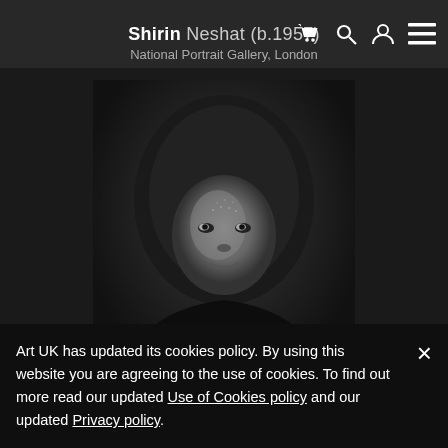Shirin Neshat (b.1957) — National Portrait Gallery, London
[Figure (photo): Black and white portrait photograph of a young woman wearing a dark hijab/headscarf, looking directly at the camera with a neutral expression. The image has high contrast with a dark background.]
© National Portrait Gallery, London. Photo credit: National Portrait Gallery, London
Art UK has updated its cookies policy. By using this website you are agreeing to the use of cookies. To find out more read our updated Use of Cookies policy and our updated Privacy policy.